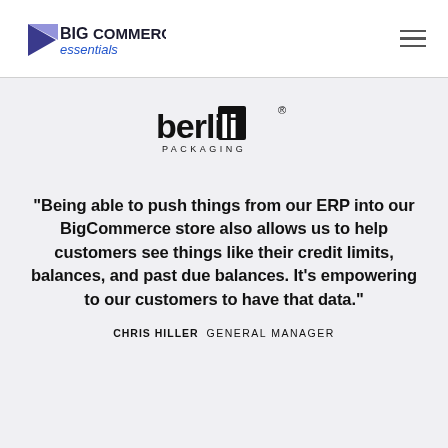[Figure (logo): BigCommerce essentials logo — blue triangle arrow shape with 'BIG' in bold and 'COMMERCE' in dark text, 'essentials' in blue italic below]
[Figure (logo): Berlin Packaging logo — stylized bold 'berlin' text with registered trademark symbol, 'PACKAGING' in small caps below]
“Being able to push things from our ERP into our BigCommerce store also allows us to help customers see things like their credit limits, balances, and past due balances. It’s empowering to our customers to have that data.”
CHRIS HILLER  GENERAL MANAGER